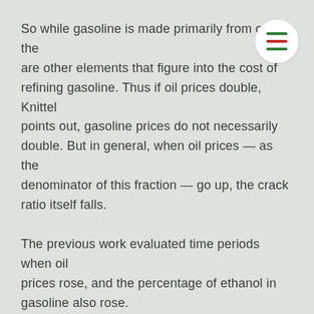So while gasoline is made primarily from oil, there are other elements that figure into the cost of refining gasoline. Thus if oil prices double, Knittel points out, gasoline prices do not necessarily double. But in general, when oil prices — as the denominator of this fraction — go up, the crack ratio itself falls.
The previous work evaluated time periods when oil prices rose, and the percentage of ethanol in gasoline also rose.
But Knittel and Smith assert that the increased proportion of ethanol in gasoline merely correlated with the declining crack ratio, and did not contribute to it in any causal sense. Instead, they think that changing oil prices drove the change in the crack